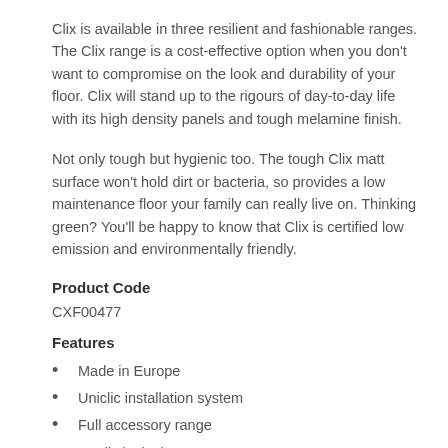Clix is available in three resilient and fashionable ranges. The Clix range is a cost-effective option when you don't want to compromise on the look and durability of your floor. Clix will stand up to the rigours of day-to-day life with its high density panels and tough melamine finish.
Not only tough but hygienic too. The tough Clix matt surface won't hold dirt or bacteria, so provides a low maintenance floor your family can really live on. Thinking green? You'll be happy to know that Clix is certified low emission and environmentally friendly.
Product Code
CXF00477
Features
Made in Europe
Uniclic installation system
Full accessory range
Realistic designs
Low maintenance